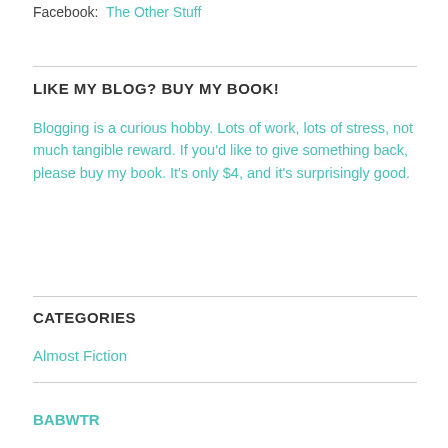Facebook: The Other Stuff
LIKE MY BLOG? BUY MY BOOK!
Blogging is a curious hobby. Lots of work, lots of stress, not much tangible reward. If you'd like to give something back, please buy my book. It's only $4, and it's surprisingly good.
CATEGORIES
Almost Fiction
BABWTR